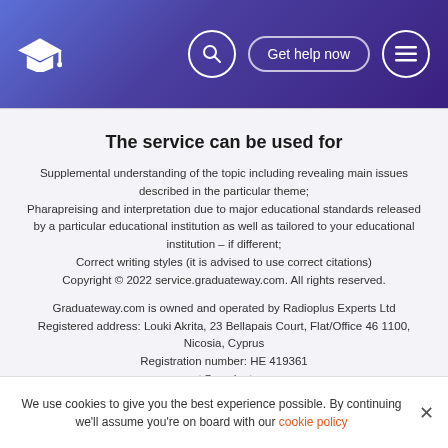[Figure (other): Website header with graduation cap logo, search icon, Get help now button, and menu icon on a purple/blue gradient background]
The service can be used for
Supplemental understanding of the topic including revealing main issues described in the particular theme;
Pharapreising and interpretation due to major educational standards released by a particular educational institution as well as tailored to your educational institution – if different;
Correct writing styles (it is advised to use correct citations)
Copyright © 2022 service.graduateway.com. All rights reserved.

Graduateway.com is owned and operated by Radioplus Experts Ltd
Registered address: Louki Akrita, 23 Bellapais Court, Flat/Office 46 1100, Nicosia, Cyprus
Registration number: HE 419361
us: support@graduateway.com
Company
About Us
We use cookies to give you the best experience possible. By continuing we'll assume you're on board with our cookie policy